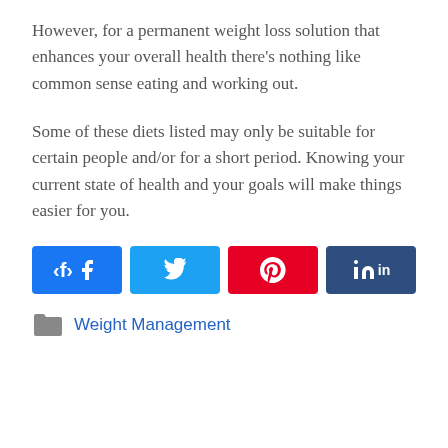However, for a permanent weight loss solution that enhances your overall health there's nothing like common sense eating and working out.
Some of these diets listed may only be suitable for certain people and/or for a short period. Knowing your current state of health and your goals will make things easier for you.
[Figure (infographic): Social share buttons: Facebook (blue), Twitter (light blue), Pinterest (red), LinkedIn (dark blue)]
Weight Management